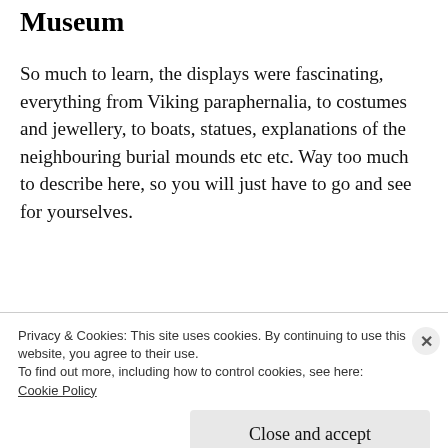Museum
So much to learn, the displays were fascinating, everything from Viking paraphernalia, to costumes and jewellery, to boats, statues, explanations of the neighbouring burial mounds etc etc. Way too much to describe here, so you will just have to go and see for yourselves.
[Figure (photo): Partial photo showing wooden interior/carved wooden surfaces of a museum exhibit, partially obscured by cookie banner]
Gam
Privacy & Cookies: This site uses cookies. By continuing to use this website, you agree to their use.
To find out more, including how to control cookies, see here:
Cookie Policy
Close and accept